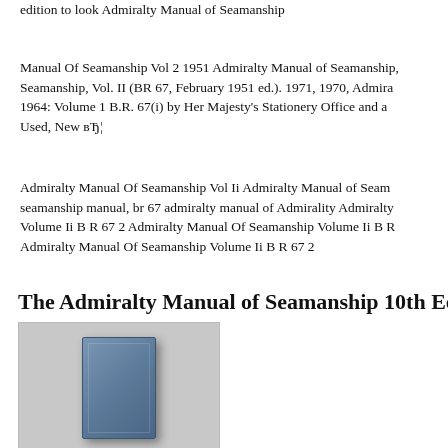edition to look Admiralty Manual of Seamanship
Manual Of Seamanship Vol 2 1951 Admiralty Manual of Seamanship Seamanship, Vol. II (BR 67, February 1951 ed.). 1971, 1970, Admiralty 1964: Volume 1 B.R. 67(i) by Her Majesty’s Stationery Office and a Used, New вТј¦
Admiralty Manual Of Seamanship Vol Ii Admiralty Manual of Seamanship seamanship manual, br 67 admiralty manual of Admirality Admiralty Volume Ii B R 67 2 Admiralty Manual Of Seamanship Volume Ii B R Admiralty Manual Of Seamanship Volume Ii B R 67 2
The Admiralty Manual of Seamanship 10th Ed
[Figure (photo): Photo of a blue hardcover book (Admiralty Manual of Seamanship) against a light grey textured background.]